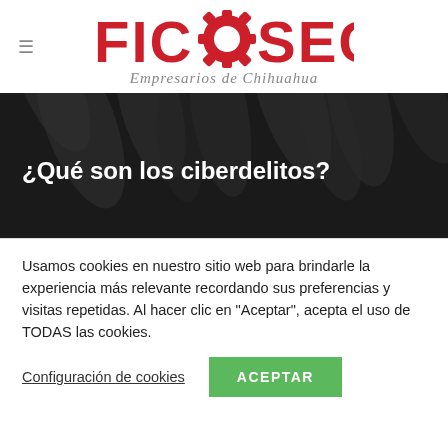[Figure (logo): FICOSEC logo with gear replacing the O, subtitle 'Empresarios de Chihuahua' in italic gray]
[Figure (photo): Dark hero banner with abstract black feather/leaf pattern background]
¿Qué son los ciberdelitos?
Usamos cookies en nuestro sitio web para brindarle la experiencia más relevante recordando sus preferencias y visitas repetidas. Al hacer clic en "Aceptar", acepta el uso de TODAS las cookies.
Configuración de cookies   ACEPTAR